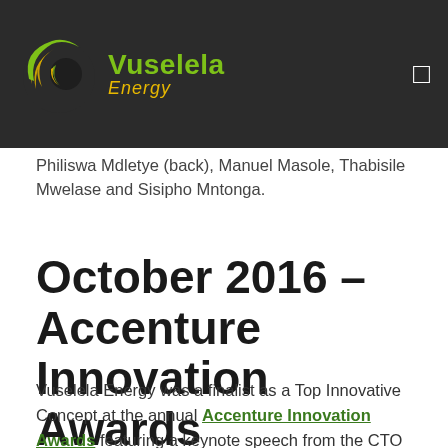Vuselela Energy
Philiswa Mdletye (back), Manuel Masole, Thabisile Mwelase and Sisipho Mntonga.
October 2016 – Accenture Innovation Awards
Vuselela Energy was a finalist as a Top Innovative Concept at the annual Accenture Innovation Awards featuring a keynote speech from the CTO at Tesla, JB Straybel. Earlier in 2016, the Accenture